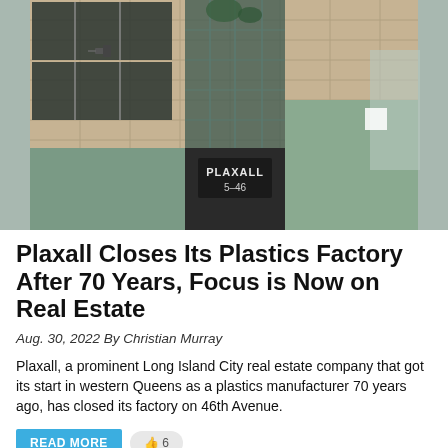[Figure (photo): Exterior photograph of the Plaxall building at 5-46, showing a multi-story structure with large glass windows, greenish tiled facade, and a sign reading PLAXALL 5-46 visible through the glass entrance area.]
Plaxall Closes Its Plastics Factory After 70 Years, Focus is Now on Real Estate
Aug. 30, 2022 By Christian Murray
Plaxall, a prominent Long Island City real estate company that got its start in western Queens as a plastics manufacturer 70 years ago, has closed its factory on 46th Avenue.